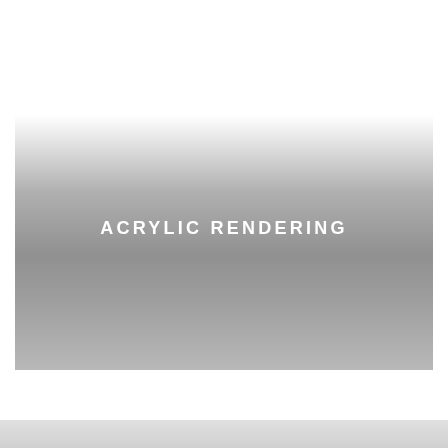[Figure (illustration): A horizontal gradient band fading from white at the top to medium grey in the middle and lighter grey at the bottom, spanning the upper-middle portion of the page, with the text 'ACRYLIC RENDERING' centered in white bold capital letters.]
ACRYLIC RENDERING